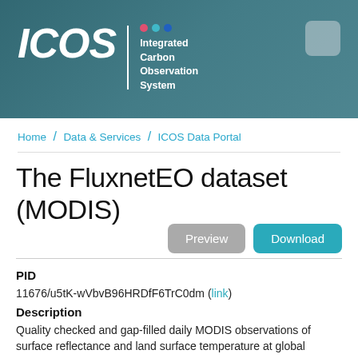[Figure (logo): ICOS (Integrated Carbon Observation System) header banner with teal/forest background, ICOS logo in white italic text, three colored dots (pink, teal, blue), organization subtitle text, and a light grey rounded rectangle in top right corner]
Home / Data & Services / ICOS Data Portal
The FluxnetEO dataset (MODIS)
Preview   Download
PID
11676/u5tK-wVbvB96HRDfF6TrC0dm (link)
Description
Quality checked and gap-filled daily MODIS observations of surface reflectance and land surface temperature at global